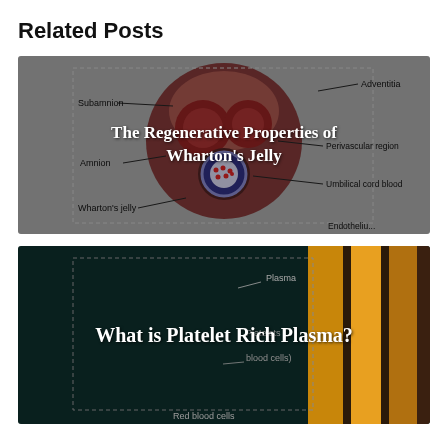Related Posts
[Figure (illustration): Anatomical diagram of umbilical cord cross-section showing Wharton's jelly, Amnion, Subamnion, Adventitia, Perivascular region, Umbilical cord blood labels, with overlay text 'The Regenerative Properties of Wharton's Jelly']
[Figure (illustration): Medical illustration showing blood components including Plasma, Platelets, blood cells, Red blood cells labels on dark teal background, with overlay text 'What is Platelet Rich Plasma?']